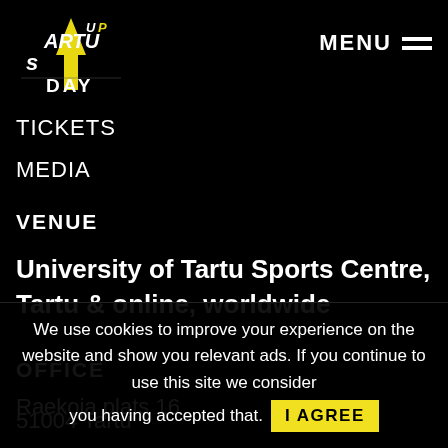[Figure (logo): Startup Day logo — stylized arrow with 'STARTUP DAY' text in white and yellow on black background]
MENU ☰
TICKETS
MEDIA
VENUE
University of Tartu Sports Centre, Tartu & online, worldwide
OFFICE
Raekoja plats 16
51004 Tartu
We use cookies to improve your experience on the website and show you relevant ads. If you continue to use this site we consider you having accepted that. I AGREE